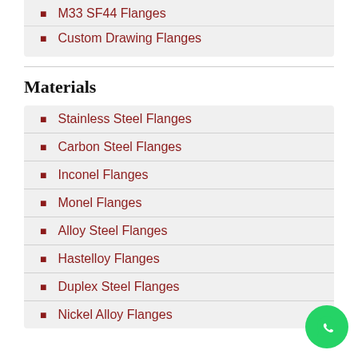M33 SF44 Flanges
Custom Drawing Flanges
Materials
Stainless Steel Flanges
Carbon Steel Flanges
Inconel Flanges
Monel Flanges
Alloy Steel Flanges
Hastelloy Flanges
Duplex Steel Flanges
Nickel Alloy Flanges